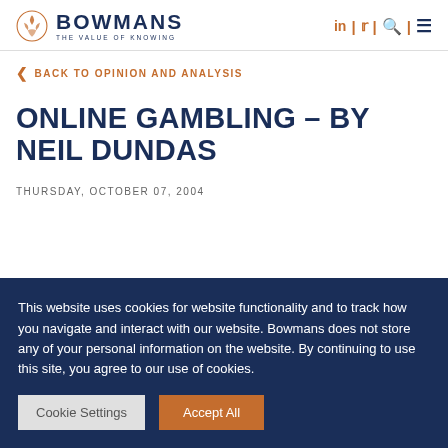BOWMANS THE VALUE OF KNOWING
< BACK TO OPINION AND ANALYSIS
ONLINE GAMBLING – BY NEIL DUNDAS
THURSDAY, OCTOBER 07, 2004
This website uses cookies for website functionality and to track how you navigate and interact with our website. Bowmans does not store any of your personal information on the website. By continuing to use this site, you agree to our use of cookies.
Cookie Settings | Accept All